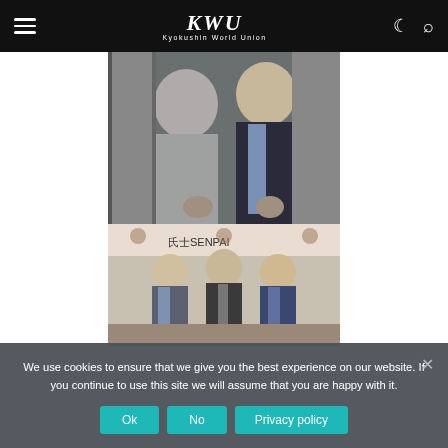KWU Kyokushin World Union
[Figure (photo): Two men posing together, one in a grey polo shirt and one in a dark suit with a blue shirt, both making a fist gesture toward the camera]
[Figure (photo): Three men in suits standing in front of a banner with Japanese text and 'SENPAI' branding, at a formal event]
We use cookies to ensure that we give you the best experience on our website. If you continue to use this site we will assume that you are happy with it.
Ok  No  Privacy policy